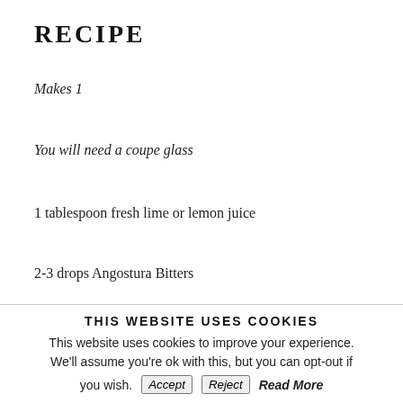RECIPE
Makes 1
You will need a coupe glass
1 tablespoon fresh lime or lemon juice
2-3 drops Angostura Bitters
a handful of candy floss
THIS WEBSITE USES COOKIES
This website uses cookies to improve your experience. We'll assume you're ok with this, but you can opt-out if you wish.
Accept   Reject   Read More